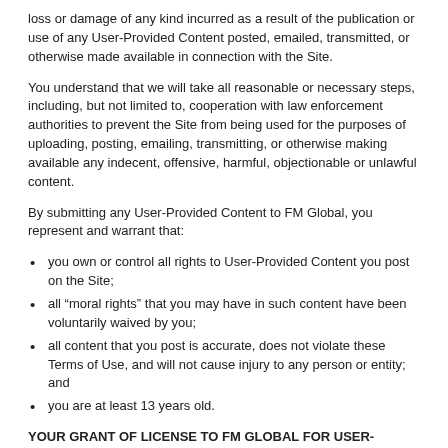loss or damage of any kind incurred as a result of the publication or use of any User-Provided Content posted, emailed, transmitted, or otherwise made available in connection with the Site.
You understand that we will take all reasonable or necessary steps, including, but not limited to, cooperation with law enforcement authorities to prevent the Site from being used for the purposes of uploading, posting, emailing, transmitting, or otherwise making available any indecent, offensive, harmful, objectionable or unlawful content.
By submitting any User-Provided Content to FM Global, you represent and warrant that:
you own or control all rights to User-Provided Content you post on the Site;
all “moral rights” that you may have in such content have been voluntarily waived by you;
all content that you post is accurate, does not violate these Terms of Use, and will not cause injury to any person or entity; and
you are at least 13 years old.
YOUR GRANT OF LICENSE TO FM GLOBAL FOR USER-PROVIDED CONTENT
By uploading, posting, emailing, transmitting, or otherwise making available any User-Provided Content, you grant us a perpetual, irrevocable, royalty-free, transferable right and license to use, reproduce, display, perform, adapt, modify, delete in its entirety